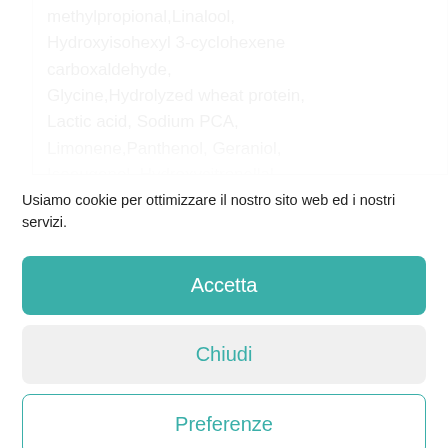methylpropional,Linalool, Hydroxyisohexyl 3-cyclohexene carboxaldehyde, Glycine,Hydrolyzed wheat protein, Lactic acid, Sodium PCA, Limonene,Panthenol, Geraniol, Isoeugenol, Hydroxycitronellal
Usiamo cookie per ottimizzare il nostro sito web ed i nostri servizi.
Accetta
Chiudi
Preferenze
Cookie Policy  Privacy Policy